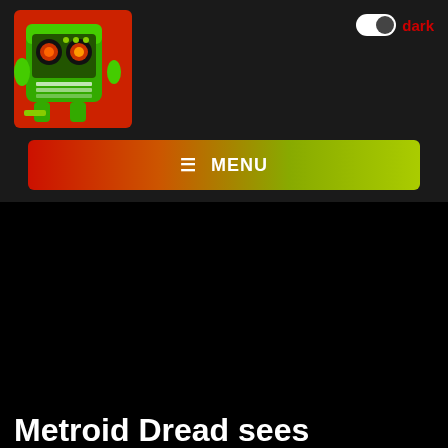[Figure (logo): Green robot/machine logo with red eyes on a red background, square app icon style]
[Figure (other): Dark mode toggle switch (white track, dark knob on right) with red 'dark' label]
≡ MENU
Metroid Dread sees highest-grossing launch in